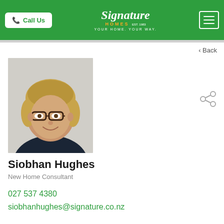Call Us | Signature Homes – YOUR HOME. YOUR WAY.
< Back
[Figure (photo): Headshot of Siobhan Hughes, a woman with blonde hair pulled back, wearing glasses and a dark navy top, smiling against a light grey background.]
Siobhan Hughes
New Home Consultant
027 537 4380
siobhanhughes@signature.co.nz